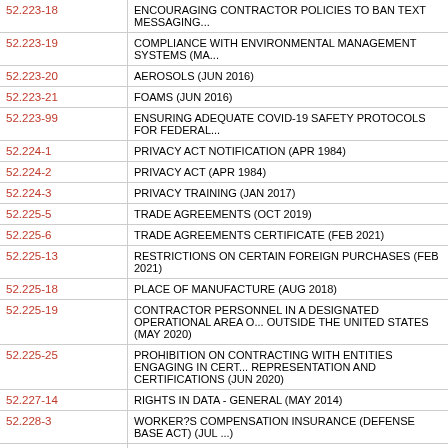| Clause | Title |
| --- | --- |
| 52.223-18 | ENCOURAGING CONTRACTOR POLICIES TO BAN TEXT MESSAGING... |
| 52.223-19 | COMPLIANCE WITH ENVIRONMENTAL MANAGEMENT SYSTEMS (MA... |
| 52.223-20 | AEROSOLS (JUN 2016) |
| 52.223-21 | FOAMS (JUN 2016) |
| 52.223-99 | ENSURING ADEQUATE COVID-19 SAFETY PROTOCOLS FOR FEDERAL... |
| 52.224-1 | PRIVACY ACT NOTIFICATION (APR 1984) |
| 52.224-2 | PRIVACY ACT (APR 1984) |
| 52.224-3 | PRIVACY TRAINING (JAN 2017) |
| 52.225-5 | TRADE AGREEMENTS (OCT 2019) |
| 52.225-6 | TRADE AGREEMENTS CERTIFICATE (FEB 2021) |
| 52.225-13 | RESTRICTIONS ON CERTAIN FOREIGN PURCHASES (FEB 2021) |
| 52.225-18 | PLACE OF MANUFACTURE (AUG 2018) |
| 52.225-19 | CONTRACTOR PERSONNEL IN A DESIGNATED OPERATIONAL AREA O... OUTSIDE THE UNITED STATES (MAY 2020) |
| 52.225-25 | PROHIBITION ON CONTRACTING WITH ENTITIES ENGAGING IN CERT... REPRESENTATION AND CERTIFICATIONS (JUN 2020) |
| 52.227-14 | RIGHTS IN DATA - GENERAL (MAY 2014) |
| 52.228-3 | WORKER?S COMPENSATION INSURANCE (DEFENSE BASE ACT) (JUL ... |
| 52.228-5 | INSURANCE - WORK ON A GOVERNMENT INSTALLATION (JAN 1997) |
| 52.229-1 | STATE AND LOCAL TAXES (APR 1984) |
| 52.232-17 | INTEREST (MAY 2014) (DEVIATION I - MAY 2003) |